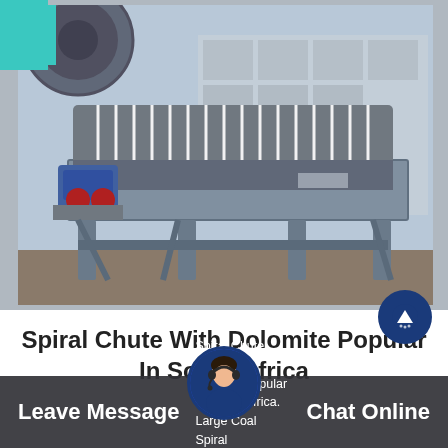[Figure (photo): Industrial magnetic separator / spiral chute machine with cylindrical drum and white fins/ribs, mounted on a steel frame, photographed outdoors in a factory yard. Blue electric motor visible on left side.]
Spiral Chute With Dolomite Popular In South Africa
Spiral Chute With Dolomite Popular In South Africa. Large Coal Spiral Chute Separator In Vinntsа Ukraine
Leave Message   Chat Online